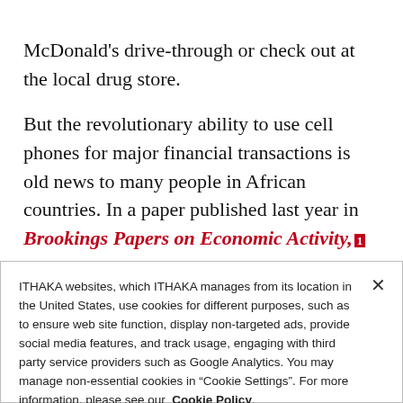McDonald's drive-through or check out at the local drug store.
But the revolutionary ability to use cell phones for major financial transactions is old news to many people in African countries. In a paper published last year in Brookings Papers on Economic Activity, [footnote] World Bank researchers
ITHAKA websites, which ITHAKA manages from its location in the United States, use cookies for different purposes, such as to ensure web site function, display non-targeted ads, provide social media features, and track usage, engaging with third party service providers such as Google Analytics. You may manage non-essential cookies in “Cookie Settings”. For more information, please see our Cookie Policy.